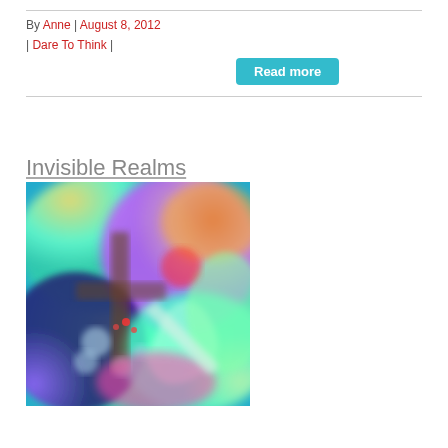By Anne | August 8, 2012 | Dare To Think |
Read more
Invisible Realms
[Figure (photo): Colorful abstract art image with swirling greens, yellows, reds, purples and blues on a textured background, resembling a psychedelic or iridescent painting.]